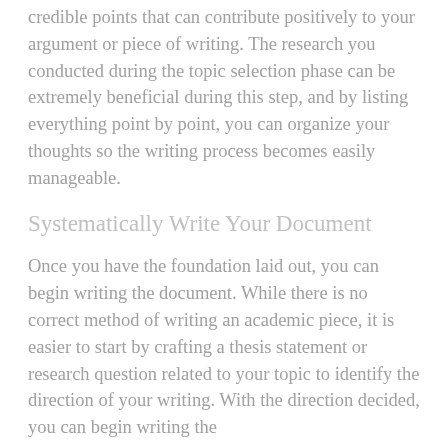credible points that can contribute positively to your argument or piece of writing. The research you conducted during the topic selection phase can be extremely beneficial during this step, and by listing everything point by point, you can organize your thoughts so the writing process becomes easily manageable.
Systematically Write Your Document
Once you have the foundation laid out, you can begin writing the document. While there is no correct method of writing an academic piece, it is easier to start by crafting a thesis statement or research question related to your topic to identify the direction of your writing. With the direction decided, you can begin writing the...